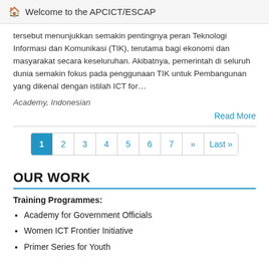Welcome to the APCICT/ESCAP
tersebut menunjukkan semakin pentingnya peran Teknologi Informasi dan Komunikasi (TIK), terutama bagi ekonomi dan masyarakat secara keseluruhan. Akibatnya, pemerintah di seluruh dunia semakin fokus pada penggunaan TIK untuk Pembangunan yang dikenal dengan istilah ICT for…
Academy, Indonesian
Read More
1 2 3 4 5 6 7 » Last »
OUR WORK
Training Programmes:
Academy for Government Officials
Women ICT Frontier Initiative
Primer Series for Youth